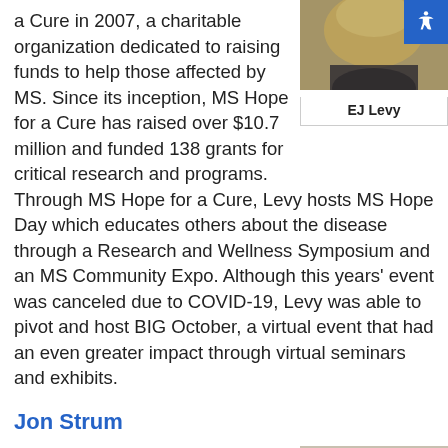a Cure in 2007, a charitable organization dedicated to raising funds to help those affected by MS. Since its inception, MS Hope for a Cure has raised over $10.7 million and funded 138 grants for critical research and programs.
[Figure (photo): Photo of EJ Levy, a woman with blonde hair]
EJ Levy
Through MS Hope for a Cure, Levy hosts MS Hope Day which educates others about the disease through a Research and Wellness Symposium and an MS Community Expo. Although this years' event was canceled due to COVID-19, Levy was able to pivot and host BIG October, a virtual event that had an even greater impact through virtual seminars and exhibits.
Jon Strum
To help address the critical